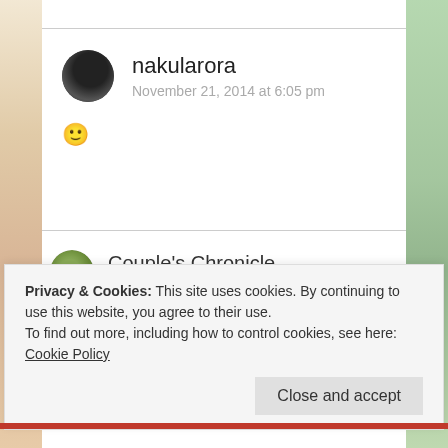nakularora
November 21, 2014 at 6:05 pm
🙂
Couple's Chronicle
November 29, 2014 at 4:44 am
You are quite a rare person. What I mean is that
Privacy & Cookies: This site uses cookies. By continuing to use this website, you agree to their use.
To find out more, including how to control cookies, see here: Cookie Policy
Close and accept